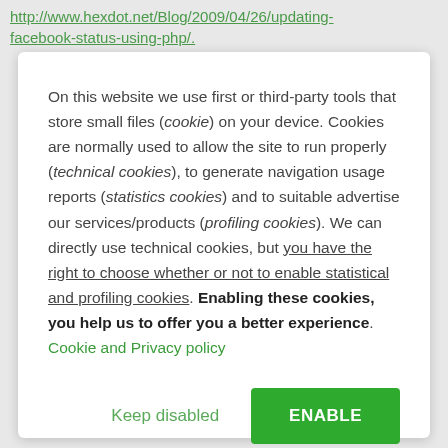http://www.hexdot.net/Blog/2009/04/26/updating-facebook-status-using-php/.
On this website we use first or third-party tools that store small files (cookie) on your device. Cookies are normally used to allow the site to run properly (technical cookies), to generate navigation usage reports (statistics cookies) and to suitable advertise our services/products (profiling cookies). We can directly use technical cookies, but you have the right to choose whether or not to enable statistical and profiling cookies. Enabling these cookies, you help us to offer you a better experience. Cookie and Privacy policy
Keep disabled
ENABLE